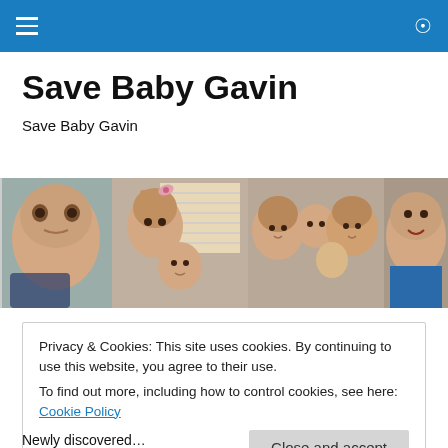Navigation bar with hamburger menu and search icon
Save Baby Gavin
Save Baby Gavin
[Figure (photo): A strip of four family photos featuring babies and a family group]
Privacy & Cookies: This site uses cookies. By continuing to use this website, you agree to their use.
To find out more, including how to control cookies, see here: Cookie Policy
Close and accept
Newly discovered...